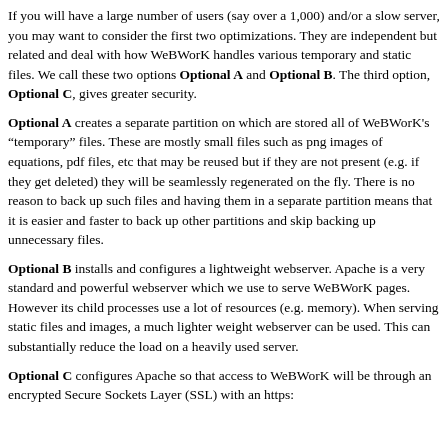If you will have a large number of users (say over a 1,000) and/or a slow server, you may want to consider the first two optimizations. They are independent but related and deal with how WeBWorK handles various temporary and static files. We call these two options Optional A and Optional B. The third option, Optional C, gives greater security.
Optional A creates a separate partition on which are stored all of WeBWorK's "temporary" files. These are mostly small files such as png images of equations, pdf files, etc that may be reused but if they are not present (e.g. if they get deleted) they will be seamlessly regenerated on the fly. There is no reason to back up such files and having them in a separate partition means that it is easier and faster to back up other partitions and skip backing up unnecessary files.
Optional B installs and configures a lightweight webserver. Apache is a very standard and powerful webserver which we use to serve WeBWorK pages. However its child processes use a lot of resources (e.g. memory). When serving static files and images, a much lighter weight webserver can be used. This can substantially reduce the load on a heavily used server.
Optional C configures Apache so that access to WeBWorK will be through an encrypted Secure Sockets Layer (SSL) with an https: